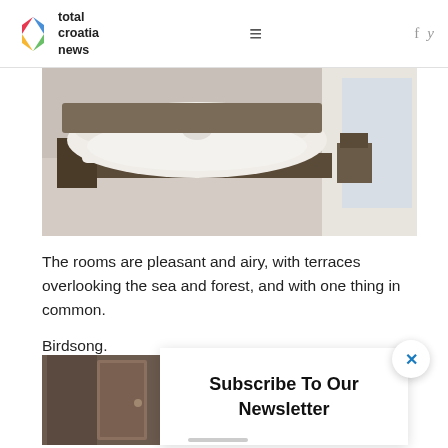[Figure (logo): Total Croatia News logo with colorful C icon and text]
[Figure (photo): Hotel room with white bed linen and terrace door in background]
The rooms are pleasant and airy, with terraces overlooking the sea and forest, and with one thing in common.
Birdsong.
[Figure (photo): Hotel room interior with wooden door]
Subscribe To Our Newsletter